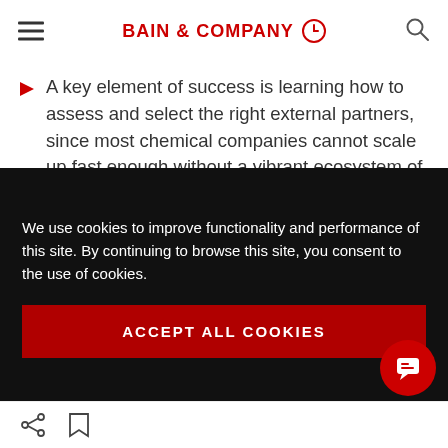BAIN & COMPANY
A key element of success is learning how to assess and select the right external partners, since most chemical companies cannot scale up fast enough without a vibrant ecosystem of support.
Here's a familiar scenario: A chemical producer
We use cookies to improve functionality and performance of this site. By continuing to browse this site, you consent to the use of cookies.

ACCEPT ALL COOKIES